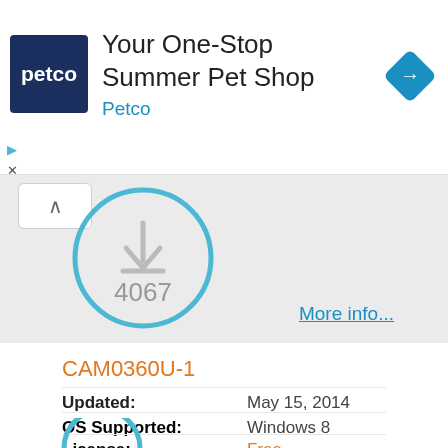[Figure (screenshot): Petco advertisement banner with logo, title 'Your One-Stop Summer Pet Shop', subtitle 'Petco', and a blue diamond navigation arrow icon]
[Figure (infographic): Download section with collapse button (chevron up), a blue circle containing a download icon and the number 4067, on a grey background, with 'More info...' link]
CAM0360U-1
Updated: May 15, 2014
OS Supported: Windows 8
License: Free